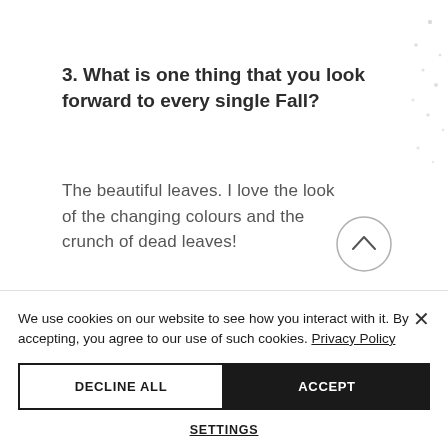3. What is one thing that you look forward to every single Fall?
The beautiful leaves. I love the look of the changing colours and the crunch of dead leaves!
[Figure (other): Circular scroll-up button with upward chevron arrow, overlapping the answer text]
We use cookies on our website to see how you interact with it. By accepting, you agree to our use of such cookies. Privacy Policy
DECLINE ALL
ACCEPT
SETTINGS